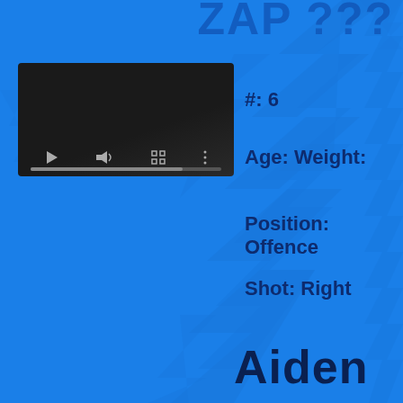ZAP ???
[Figure (screenshot): Video player with dark background, showing playback controls: play button, volume icon, fullscreen icon, more options icon, and a progress bar.]
#: 6
Age: Weight:
Position: Offence
Shot: Right
Aiden